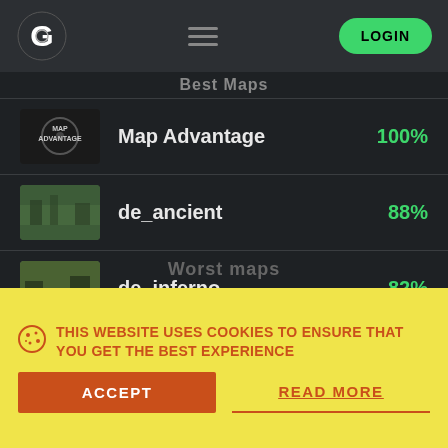[Figure (screenshot): Website navigation header with G-logo, hamburger menu, and green LOGIN button]
Best Maps
Map Advantage 100%
de_ancient 88%
de_inferno 82%
de_mirage 80%
Worst maps
THIS WEBSITE USES COOKIES TO ENSURE THAT YOU GET THE BEST EXPERIENCE
ACCEPT
READ MORE